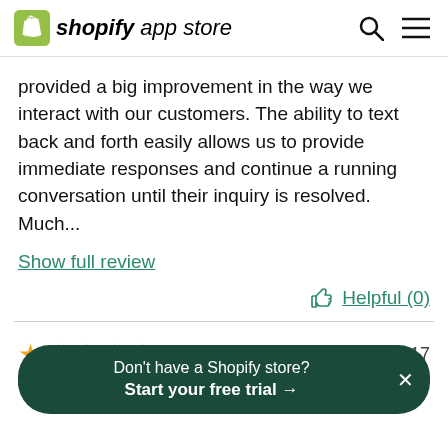shopify app store
provided a big improvement in the way we interact with our customers. The ability to text back and forth easily allows us to provide immediate responses and continue a running conversation until their inquiry is resolved. Much...
Show full review
Helpful (0)
May 25, 2017
Time spent using app  Over 4 years
Don't have a Shopify store? Start your free trial →